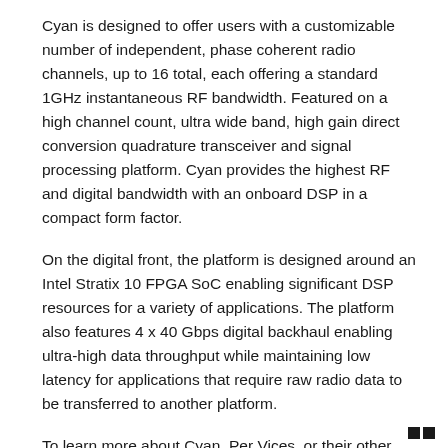market with the highest performance radio solutions.
Cyan is designed to offer users with a customizable number of independent, phase coherent radio channels, up to 16 total, each offering a standard 1GHz instantaneous RF bandwidth. Featured on a high channel count, ultra wide band, high gain direct conversion quadrature transceiver and signal processing platform. Cyan provides the highest RF and digital bandwidth with an onboard DSP in a compact form factor.
On the digital front, the platform is designed around an Intel Stratix 10 FPGA SoC enabling significant DSP resources for a variety of applications. The platform also features 4 x 40 Gbps digital backhaul enabling ultra-high data throughput while maintaining low latency for applications that require raw radio data to be transferred to another platform.
To learn more about Cyan, Per Vices, or their other product offerings, contact Brandon Malatest at    +1 (647) 534-9007, or email Brandon.m@pervices.com, or visit the website at